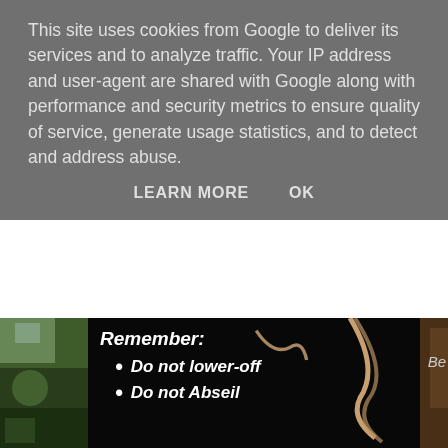This site uses cookies from Google to deliver its services and to analyze traffic. Your IP address and user-agent are shared with Google along with performance and security metrics to ensure quality of service, generate usage statistics, and to detect and address abuse.
LEARN MORE   OK
[Figure (photo): Background photo showing a dark cave or rock climbing area with a rope/figure visible on the right side, and a small outdoor rock climbing scene on the left edge]
Be
Remember:
Do not lower-off
Do not Abseil